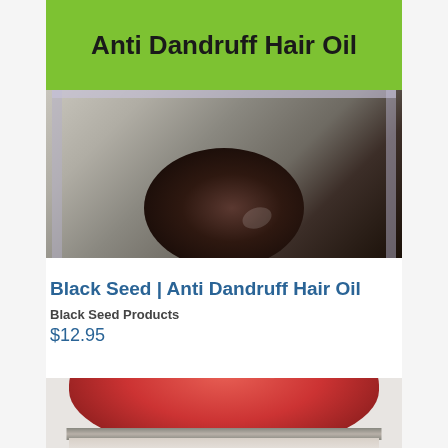[Figure (photo): Product photo of Black Seed Anti Dandruff Hair Oil bottle with green label at top showing product name in bold black text, and bottle body showing dark circular image of hair.]
Black Seed | Anti Dandruff Hair Oil
Black Seed Products
$12.95
[Figure (photo): Partial product photo showing a red-lidded jar, visible from the top portion of the frame.]